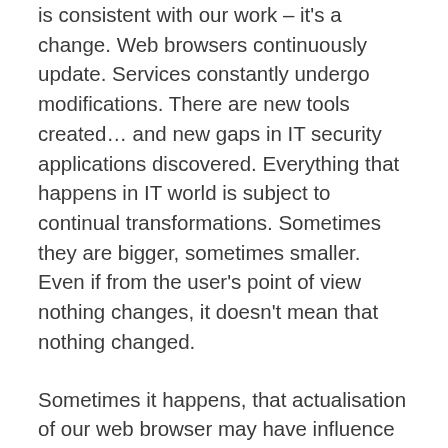is consistent with our work – it's a change. Web browsers continuously update. Services constantly undergo modifications. There are new tools created… and new gaps in IT security applications discovered. Everything that happens in IT world is subject to continual transformations. Sometimes they are bigger, sometimes smaller. Even if from the user's point of view nothing changes, it doesn't mean that nothing changed.
Sometimes it happens, that actualisation of our web browser may have influence on functionality or service display. What if in the meantime Google may expect from websites something different than being just RWD or relatively fast loading? If you sometimes happen to put up auctions on Allegro then in a way or another you can experience, when this web portal changes